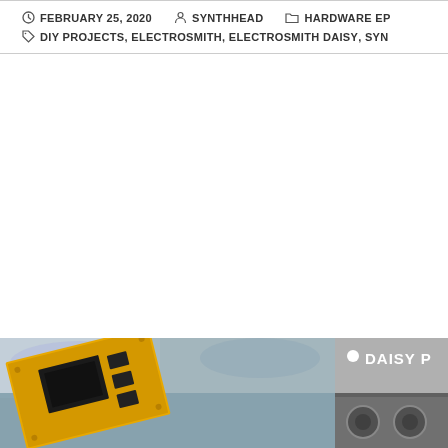FEBRUARY 25, 2020   SYNTHHEAD   HARDWARE EP   DIY PROJECTS, ELECTROSMITH, ELECTROSMITH DAISY, SYN
[Figure (photo): Photo of an orange/yellow PCB circuit board with black chips, photographed at an angle against a blurred colorful background]
[Figure (photo): Photo showing a grey panel with 'DAISY P' text label, a white dot indicator, and audio connectors/jacks below]